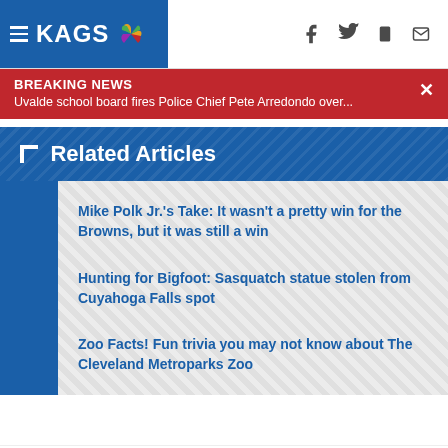KAGS
BREAKING NEWS
Uvalde school board fires Police Chief Pete Arredondo over...
Related Articles
Mike Polk Jr.'s Take: It wasn't a pretty win for the Browns, but it was still a win
Hunting for Bigfoot: Sasquatch statue stolen from Cuyahoga Falls spot
Zoo Facts! Fun trivia you may not know about The Cleveland Metroparks Zoo
Taboola Feed